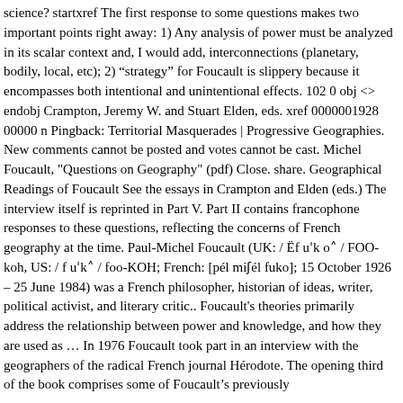science? startxref The first response to some questions makes two important points right away: 1) Any analysis of power must be analyzed in its scalar context and, I would add, interconnections (planetary, bodily, local, etc); 2) “strategy” for Foucault is slippery because it encompasses both intentional and unintentional effects. 102 0 obj <> endobj Crampton, Jeremy W. and Stuart Elden, eds. xref 0000001928 00000 n Pingback: Territorial Masquerades | Progressive Geographies. New comments cannot be posted and votes cannot be cast. Michel Foucault, "Questions on Geography" (pdf) Close. share. Geographical Readings of Foucault See the essays in Crampton and Elden (eds.) The interview itself is reprinted in Part V. Part II contains francophone responses to these questions, reflecting the concerns of French geography at the time. Paul-Michel Foucault (UK: / Ëf uˈk o˄/ FOO-koh, US: / f uˈk˄/ foo-KOH; French: [pél miʃél fuko]; 15 October 1926 – 25 June 1984) was a French philosopher, historian of ideas, writer, political activist, and literary critic.. Foucault's theories primarily address the relationship between power and knowledge, and how they are used as … In 1976 Foucault took part in an interview with the geographers of the radical French journal Hérodote. The opening third of the book comprises some of Foucault’s previously